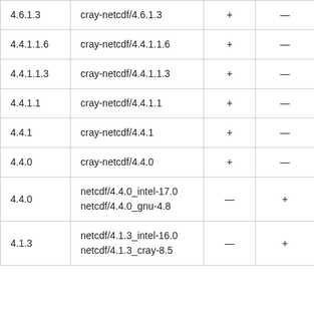| 4.6.1.3 | cray-netcdf/4.6.1.3 | + | — |
| 4.4.1.1.6 | cray-netcdf/4.4.1.1.6 | + | — |
| 4.4.1.1.3 | cray-netcdf/4.4.1.1.3 | + | — |
| 4.4.1.1 | cray-netcdf/4.4.1.1 | + | — |
| 4.4.1 | cray-netcdf/4.4.1 | + | — |
| 4.4.0 | cray-netcdf/4.4.0 | + | — |
| 4.4.0 | netcdf/4.4.0_intel-17.0
netcdf/4.4.0_gnu-4.8 | — | + |
| 4.1.3 | netcdf/4.1.3_intel-16.0
netcdf/4.1.3_cray-8.5 | — | + |